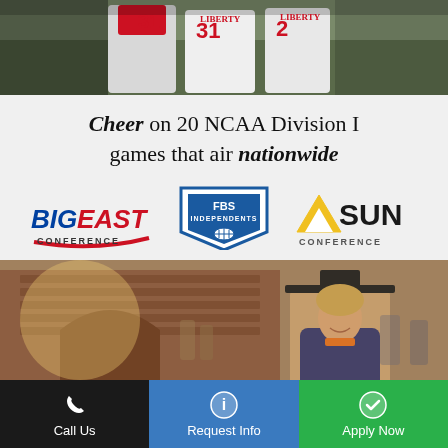[Figure (photo): Football players in Liberty University white uniforms with numbers 31 and 2 on a field, celebrating or posing together]
Cheer on 20 NCAA Division I games that air nationwide
[Figure (logo): Three conference logos: Big East Conference (red swoosh text), FBS Independents (blue shield badge), ASUN Conference (gold and black text)]
[Figure (photo): Female graduate student smiling in graduation cap and gown in front of a brick building campus]
Call Us | Request Info | Apply Now